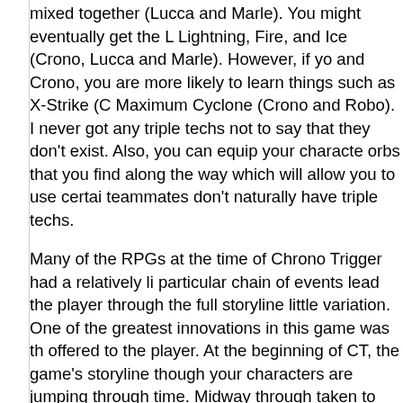mixed together (Lucca and Marle). You might eventually get the Lightning, Fire, and Ice (Crono, Lucca and Marle). However, if you and Crono, you are more likely to learn things such as X-Strike (C Maximum Cyclone (Crono and Robo). I never got any triple techs not to say that they don't exist. Also, you can equip your characte orbs that you find along the way which will allow you to use certai teammates don't naturally have triple techs.
Many of the RPGs at the time of Chrono Trigger had a relatively li particular chain of events lead the player through the full storyline little variation. One of the greatest innovations in this game was th offered to the player. At the beginning of CT, the game's storyline though your characters are jumping through time. Midway through taken to the "End of Time" location and at this point the player ca boss at any time. Also, there are opportunities such as whether o second time or forgive him which can change the story of the gan current storyline events your team has completed, going after Lav received and the game becomes less linear. Finally, in the last ch player has completed all of the storyline up to the final boss fight to complete none, some, or all of the side quests. Each side ques of skill to complete and some were far more challenging than othe player. When the player completes ALL of the side quests, they S methods in which they can engage the final boss and the decision ending they receive. This was something that was completely unh